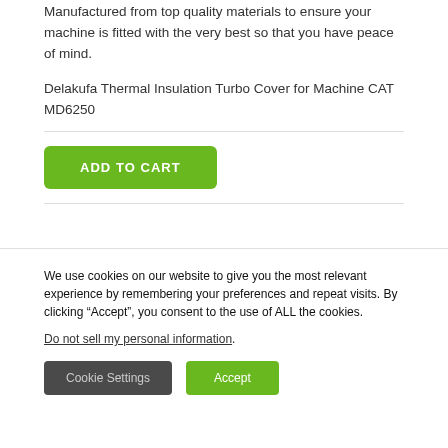Manufactured from top quality materials to ensure your machine is fitted with the very best so that you have peace of mind.
Delakufa Thermal Insulation Turbo Cover for Machine CAT MD6250
ADD TO CART
We use cookies on our website to give you the most relevant experience by remembering your preferences and repeat visits. By clicking “Accept”, you consent to the use of ALL the cookies.
Do not sell my personal information.
Cookie Settings
Accept